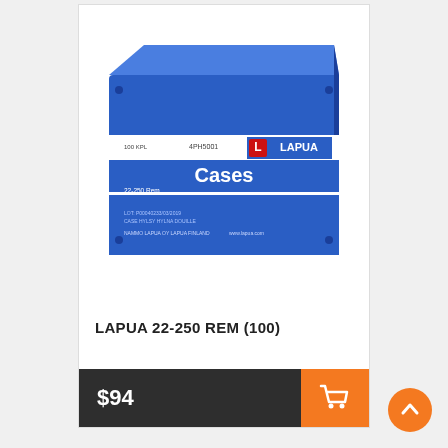[Figure (photo): Blue Lapua branded box labeled 'Cases' for 22-250 Rem, 100 count, product code 4PH5001, manufactured by Nammo Lapua OY, Lapua Finland]
LAPUA 22-250 REM (100)
$94
[Figure (illustration): Shopping cart icon in white on orange background]
[Figure (illustration): Back to top arrow button, orange circle with white chevron up]